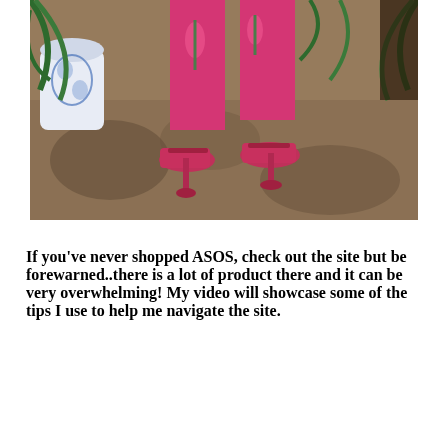[Figure (photo): Lower half of a person wearing a hot pink floral outfit and pink satin heeled shoes standing on a patterned carpet rug, with a blue and white ceramic vase and green palm leaves visible in the background.]
If you've never shopped ASOS, check out the site but be forewarned..there is a lot of product there and it can be very overwhelming!  My video will showcase some of the tips I use to help me navigate the site.